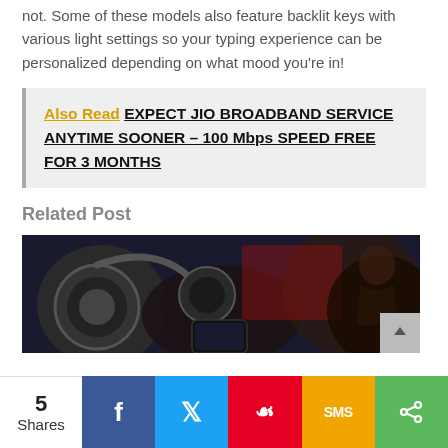not. Some of these models also feature backlit keys with various light settings so your typing experience can be personalized depending on what mood you're in!
Also Read  EXPECT JIO BROADBAND SERVICE ANYTIME SOONER – 100 Mbps SPEED FREE FOR 3 MONTHS
Related Post
[Figure (photo): Dark-toned photo of headphones and a smartphone on a surface]